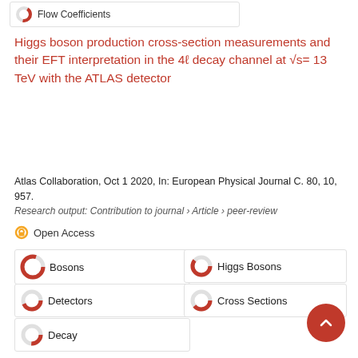[Figure (other): Donut chart icon with label 'Flow Coefficients']
Higgs boson production cross-section measurements and their EFT interpretation in the 4ℓ decay channel at √s= 13 TeV with the ATLAS detector
Atlas Collaboration, Oct 1 2020, In: European Physical Journal C. 80, 10, 957.
Research output: Contribution to journal › Article › peer-review
Open Access
Bosons
Higgs Bosons
Detectors
Cross Sections
Decay
Measurement of azimuthal anisotropy of muons from charm and bottom hadrons in Pb+Pb collisions at s_NN=5.02 TeV with the ATLAS detector